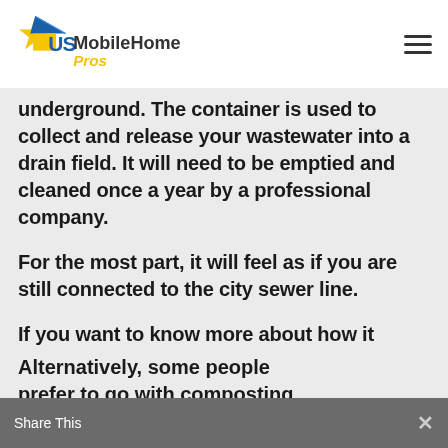US Mobile Home Pros
underground. The container is used to collect and release your wastewater into a drain field. It will need to be emptied and cleaned once a year by a professional company.
For the most part, it will feel as if you are still connected to the city sewer line.
If you want to know more about how it works, take a look at this article.
Alternatively, some people prefer to go with composting